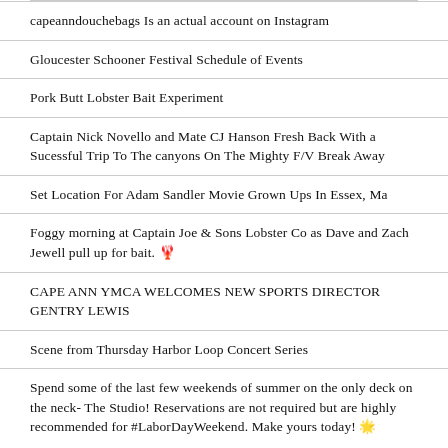capeanndouchebags Is an actual account on Instagram
Gloucester Schooner Festival Schedule of Events
Pork Butt Lobster Bait Experiment
Captain Nick Novello and Mate CJ Hanson Fresh Back With a Sucessful Trip To The canyons On The Mighty F/V Break Away
Set Location For Adam Sandler Movie Grown Ups In Essex, Ma
Foggy morning at Captain Joe & Sons Lobster Co as Dave and Zach Jewell pull up for bait. 🦞
CAPE ANN YMCA WELCOMES NEW SPORTS DIRECTOR GENTRY LEWIS
Scene from Thursday Harbor Loop Concert Series
Spend some of the last few weekends of summer on the only deck on the neck- The Studio! Reservations are not required but are highly recommended for #LaborDayWeekend. Make yours today! 🌟